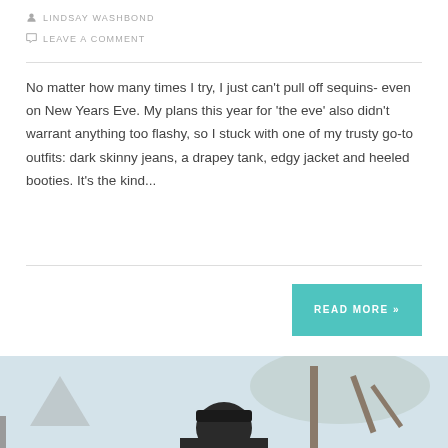LINDSAY WASHBOND
LEAVE A COMMENT
No matter how many times I try, I just can't pull off sequins- even on New Years Eve. My plans this year for 'the eve' also didn't warrant anything too flashy, so I stuck with one of my trusty go-to outfits: dark skinny jeans, a drapey tank, edgy jacket and heeled booties. It's the kind...
READ MORE »
[Figure (photo): Outdoor photo of a person wearing a hat near a tree, partial view at the bottom of the page]